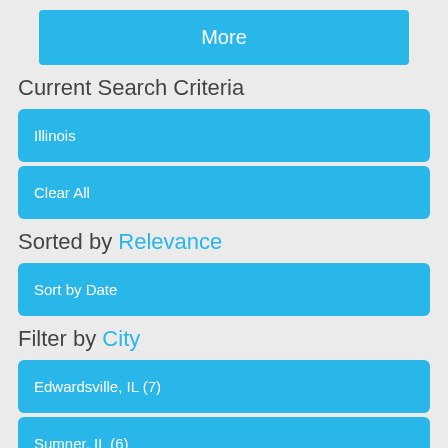More
Current Search Criteria
Illinois
Clear All
Sorted by Relevance
Sort by Date
Filter by City
Edwardsville, IL (7)
Sumner, IL (6)